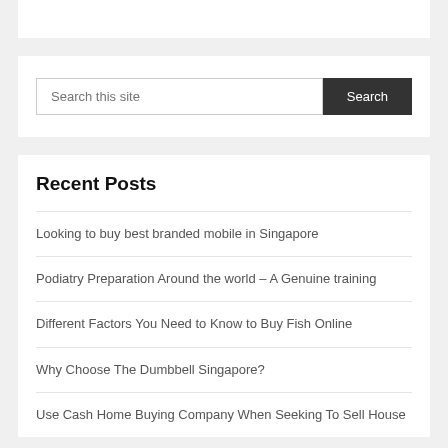[Figure (screenshot): Top white box area, partial widget]
[Figure (screenshot): Search bar widget with text input 'Search this site' and dark Search button]
Recent Posts
Looking to buy best branded mobile in Singapore
Podiatry Preparation Around the world – A Genuine training
Different Factors You Need to Know to Buy Fish Online
Why Choose The Dumbbell Singapore?
Use Cash Home Buying Company When Seeking To Sell House